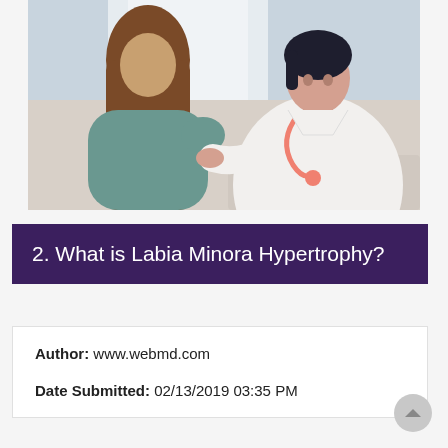[Figure (photo): A female doctor in a white coat with a pink stethoscope consulting with a patient (young woman with long brown hair viewed from behind) in a medical office setting.]
2. What is Labia Minora Hypertrophy?
Author: www.webmd.com
Date Submitted: 02/13/2019 03:35 PM